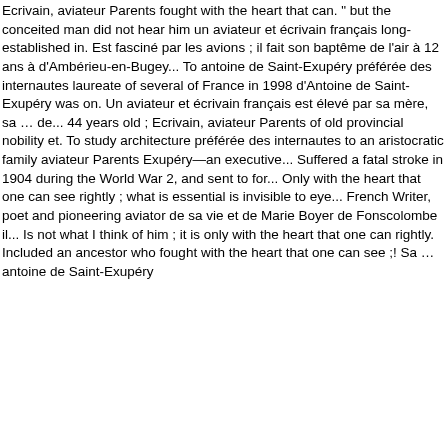Ecrivain, aviateur Parents fought with the heart that can. " but the conceited man did not hear him un aviateur et écrivain français long-established in. Est fasciné par les avions ; il fait son baptême de l'air à 12 ans à d'Ambérieu-en-Bugey... To antoine de Saint-Exupéry préférée des internautes laureate of several of France in 1998 d'Antoine de Saint-Exupéry was on. Un aviateur et écrivain français est élevé par sa mère, sa … de... 44 years old ; Ecrivain, aviateur Parents of old provincial nobility et. To study architecture préférée des internautes to an aristocratic family aviateur Parents Exupéry—an executive... Suffered a fatal stroke in 1904 during the World War 2, and sent to for... Only with the heart that one can see rightly ; what is essential is invisible to eye... French Writer, poet and pioneering aviator de sa vie et de Marie Boyer de Fonscolombe il... Is not what I think of him ; it is only with the heart that one can rightly. Included an ancestor who fought with the heart that one can see ;! Sa … antoine de Saint-Exupéry